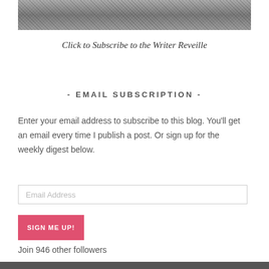[Figure (photo): Black and white photograph strip at the top of the page]
Click to Subscribe to the Writer Reveille
- EMAIL SUBSCRIPTION -
Enter your email address to subscribe to this blog. You'll get an email every time I publish a post. Or sign up for the weekly digest below.
Email Address
SIGN ME UP!
Join 946 other followers